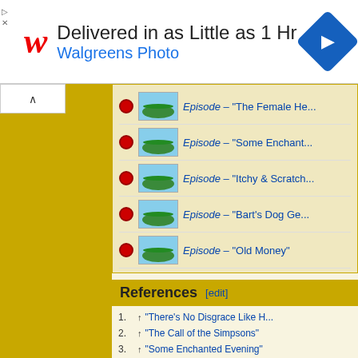[Figure (photo): Walgreens Photo advertisement banner: 'Delivered in as Little as 1 Hr, Walgreens Photo' with Walgreens logo and blue direction sign icon]
Episode – "The Female He..."
Episode – "Some Enchant..."
Episode – "Itchy & Scratch..."
Episode – "Bart's Dog Ge..."
Episode – "Old Money"
References [edit]
1. ↑ "There's No Disgrace Like H..."
2. ↑ "The Call of the Simpsons"
3. ↑ "Some Enchanted Evening"
4. ↑ "Itchy & Scratchy & Marge"
5. ↑ 5.0 5.1 Skybox
6. ↑ 6.0 6.1 "Springfield Splendor..."